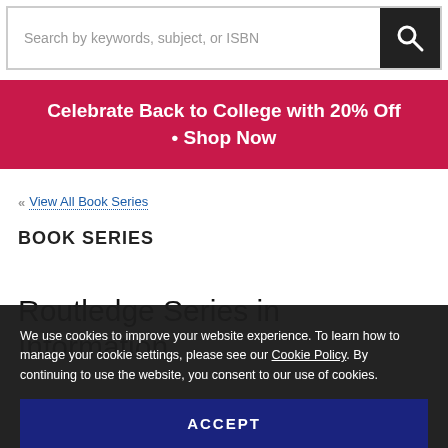[Figure (screenshot): Search bar with placeholder text 'Search by keywords, subject, or ISBN' and a search icon button on the right]
Celebrate Back to College with 20% Off • Shop Now
« View All Book Series
BOOK SERIES
Routledge Series in Information
We use cookies to improve your website experience. To learn how to manage your cookie settings, please see our Cookie Policy. By continuing to use the website, you consent to our use of cookies.
ACCEPT